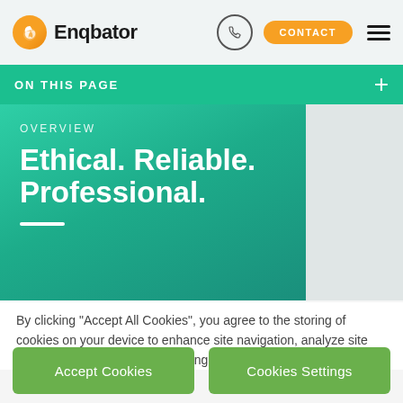Enqbator — CONTACT
ON THIS PAGE
OVERVIEW
Ethical. Reliable. Professional.
By clicking “Accept All Cookies”, you agree to the storing of cookies on your device to enhance site navigation, analyze site usage, and assist in our marketing efforts.
Accept Cookies
Cookies Settings